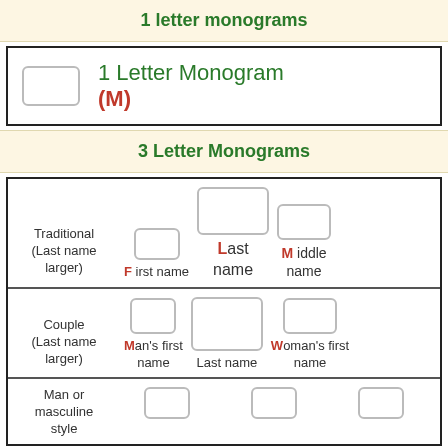1 letter monograms
1 Letter Monogram (M)
3 Letter Monograms
| Traditional (Last name larger) | F irst name | Last name | M iddle name |
| Couple (Last name larger) | Man's first name | Last name | Woman's first name |
| Man or masculine style |  |  |  |